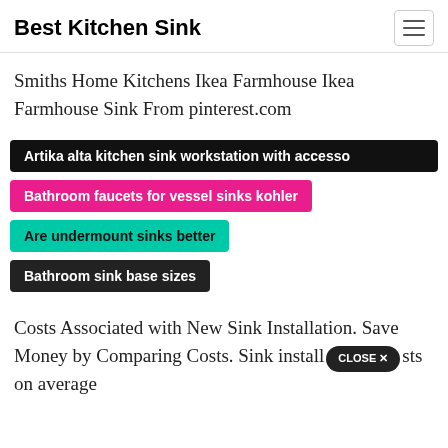Best Kitchen Sink
Smiths Home Kitchens Ikea Farmhouse Ikea Farmhouse Sink From pinterest.com
Artika alta kitchen sink workstation with accesso
Bathroom faucets for vessel sinks kohler
Are undermount sinks better
Bathroom sink base sizes
Costs Associated with New Sink Installation. Save Money by Comparing Costs. Sink install [CLOSE X] sts on average